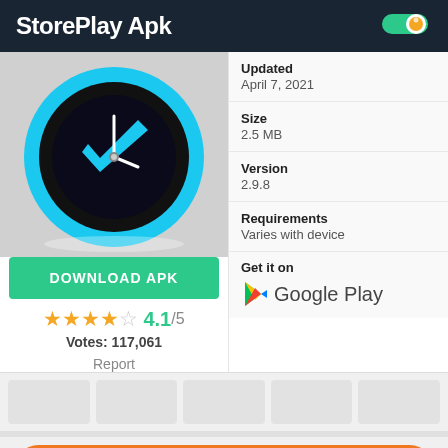StorePlay Apk
[Figure (screenshot): Clock app icon - black sphere with blue ring and blue clock hands]
DOWNLOAD APK
4.1/5
Votes: 117,061
Report
Updated
April 7, 2021
Size
2.5 MB
Version
2.9.8
Requirements
Varies with device
Get it on
Google Play
Download StorePlay Apk Official App Size: 113 KB